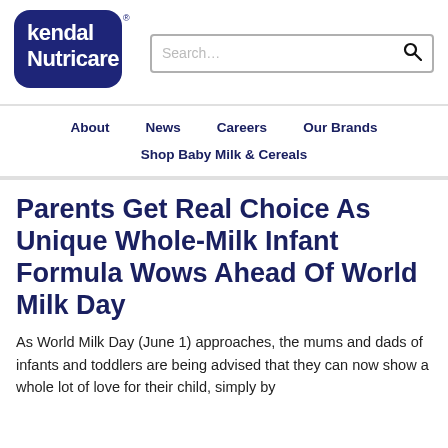[Figure (logo): Kendal Nutricare logo — white text on dark navy/indigo rounded rectangle background]
Search...
About   News   Careers   Our Brands
Shop Baby Milk & Cereals
Parents Get Real Choice As Unique Whole-Milk Infant Formula Wows Ahead Of World Milk Day
As World Milk Day (June 1) approaches, the mums and dads of infants and toddlers are being advised that they can now show a whole lot of love for their child, simply by